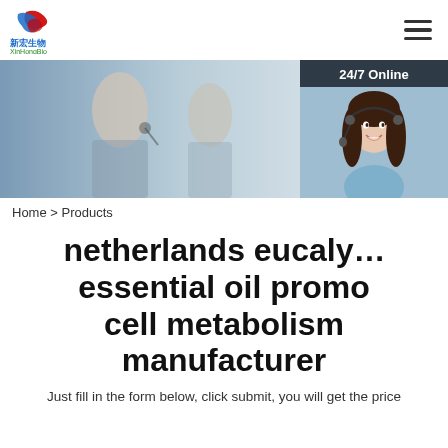[Figure (logo): XinHongBio company logo with Chinese characters 新宏生物 and stylized J graphic in red/blue]
[Figure (photo): Banner photo of office workers with headsets; on the right, a 24/7 Online chat overlay with a female customer service representative, 'Click here for free chat!' text, and QUOTATION button]
Home > Products
netherlands eucalyptus essential oil promotes cell metabolism manufacturer
Just fill in the form below, click submit, you will get the price